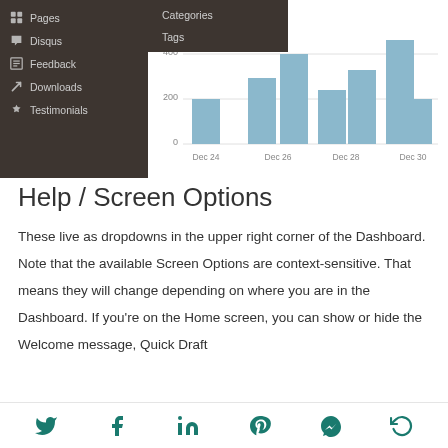[Figure (screenshot): WordPress dashboard screenshot showing sidebar navigation with Pages, Disqus, Feedback, Downloads, Testimonials items; a dropdown menu with Categories and Tags; and a bar chart showing visit counts from Dec 24 to Dec 30]
Help / Screen Options
These live as dropdowns in the upper right corner of the Dashboard. Note that the available Screen Options are context-sensitive. That means they will change depending on where you are in the Dashboard. If you're on the Home screen, you can show or hide the Welcome message, Quick Draft
Social share icons: Twitter, Facebook, LinkedIn, Pinterest, Messenger, Other